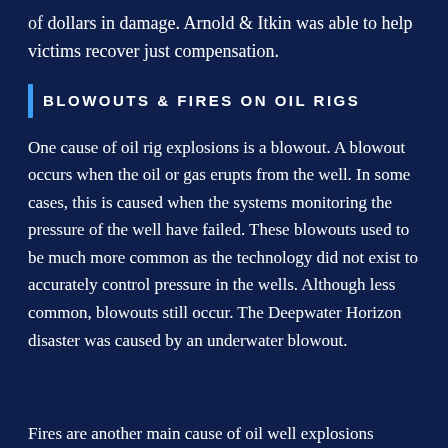of dollars in damage. Arnold & Itkin was able to help victims recover just compensation.
BLOWOUTS & FIRES ON OIL RIGS
One cause of oil rig explosions is a blowout. A blowout occurs when the oil or gas erupts from the well. In some cases, this is caused when the systems monitoring the pressure of the well have failed. These blowouts used to be much more common as the technology did not exist to accurately control pressure in the wells. Although less common, blowouts still occur. The Deepwater Horizon disaster was caused by an underwater blowout.
Fires are another main cause of oil well explosions